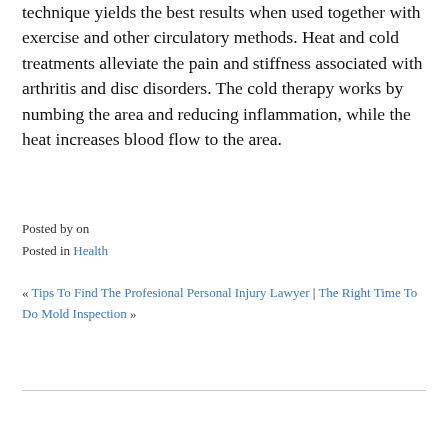technique yields the best results when used together with exercise and other circulatory methods. Heat and cold treatments alleviate the pain and stiffness associated with arthritis and disc disorders. The cold therapy works by numbing the area and reducing inflammation, while the heat increases blood flow to the area.
Posted by on
Posted in Health
« Tips To Find The Profesional Personal Injury Lawyer | The Right Time To Do Mold Inspection »